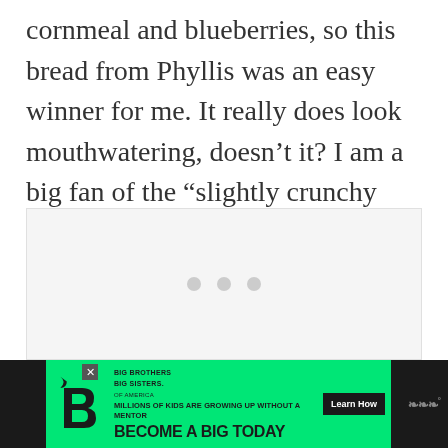cornmeal and blueberries, so this bread from Phyllis was an easy winner for me. It really does look mouthwatering, doesn't it? I am a big fan of the “slightly crunchy and incredibly moist texture” that she describes.
[Figure (other): A light gray placeholder area with three gray dots in the center, indicating a loading or ad placeholder.]
[Figure (other): Advertisement banner: Big Brothers Big Sisters of America. Green background with text: MILLIONS OF KIDS ARE GROWING UP WITHOUT A MENTOR. BECOME A BIG TODAY. Learn How button. Dark background on sides with WW logo.]